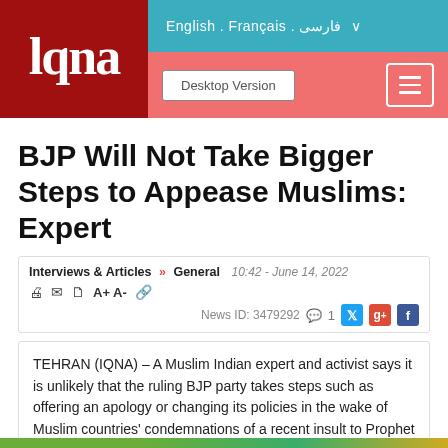[Figure (logo): IQNA logo in white text on dark red background]
English . Français . فارسی ∨
Desktop Version  ☰
BJP Will Not Take Bigger Steps to Appease Muslims: Expert
Interviews & Articles » General  10:42 - June 14, 2022
🖨 ✉ 🗋 A+ A-  🔗
News ID: 3479292 💬 1 🐦 g+ f
TEHRAN (IQNA) – A Muslim Indian expert and activist says it is unlikely that the ruling BJP party takes steps such as offering an apology or changing its policies in the wake of Muslim countries' condemnations of a recent insult to Prophet Muhammad (PBUH)